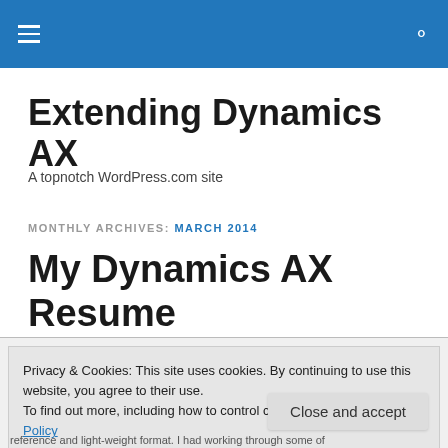Extending Dynamics AX — site navigation header bar
Extending Dynamics AX
A topnotch WordPress.com site
MONTHLY ARCHIVES: MARCH 2014
My Dynamics AX Resume
Privacy & Cookies: This site uses cookies. By continuing to use this website, you agree to their use. To find out more, including how to control cookies, see here: Cookie Policy
Close and accept
reference and light-weight format. I had working through some of